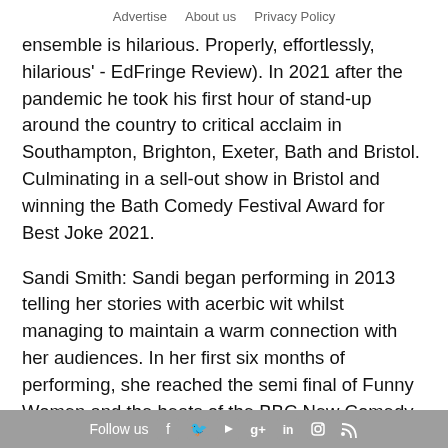Advertise   About us   Privacy Policy
ensemble is hilarious. Properly, effortlessly, hilarious' - EdFringe Review). In 2021 after the pandemic he took his first hour of stand-up around the country to critical acclaim in Southampton, Brighton, Exeter, Bath and Bristol. Culminating in a sell-out show in Bristol and winning the Bath Comedy Festival Award for Best Joke 2021.
Sandi Smith: Sandi began performing in 2013 telling her stories with acerbic wit whilst managing to maintain a warm connection with her audiences. In her first six months of performing, she reached the semi final of Funny Women and the heats of the BBC New Comedy Awards.Deceptively spacious, she must be seen to be appreciated. Sandi is a breath of fresh air to stand up comedy, she's very very funny
Follow us